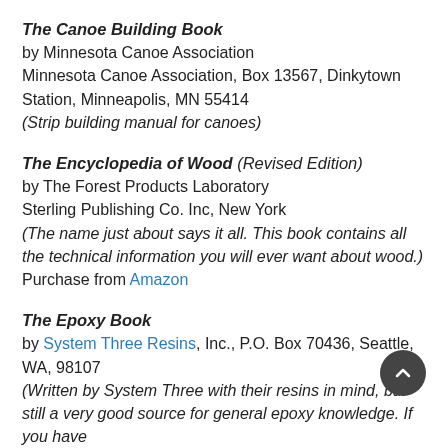The Canoe Building Book
by Minnesota Canoe Association
Minnesota Canoe Association, Box 13567, Dinkytown Station, Minneapolis, MN 55414
(Strip building manual for canoes)
The Encyclopedia of Wood (Revised Edition)
by The Forest Products Laboratory
Sterling Publishing Co. Inc, New York
(The name just about says it all. This book contains all the technical information you will ever want about wood.)
Purchase from Amazon
The Epoxy Book
by System Three Resins, Inc., P.O. Box 70436, Seattle, WA, 98107
(Written by System Three with their resins in mind, but still a very good source for general epoxy knowledge. If you have